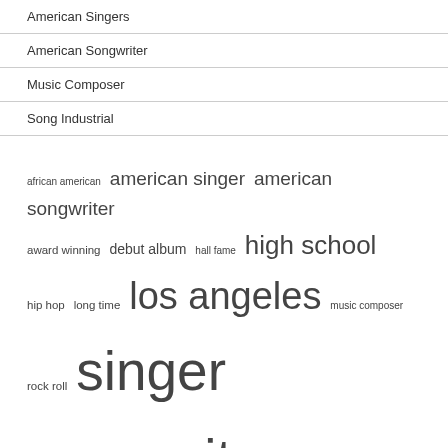American Singers
American Songwriter
Music Composer
Song Industrial
african american american singer american songwriter award winning debut album hall fame high school hip hop long time los angeles music composer rock roll singer songwriter united states york city
RECENT POSTS